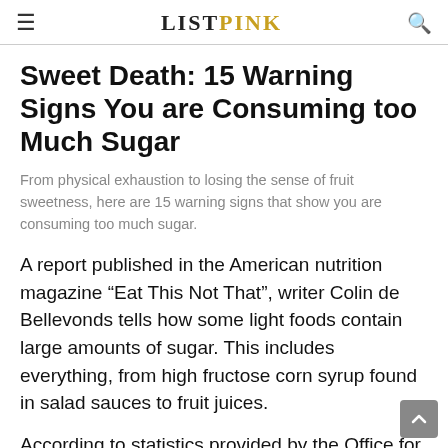ListPink
Sweet Death: 15 Warning Signs You are Consuming too Much Sugar
From physical exhaustion to losing the sense of fruit sweetness, here are 15 warning signs that show you are consuming too much sugar.
A report published in the American nutrition magazine “Eat This Not That”, writer Colin de Bellevonds tells how some light foods contain large amounts of sugar. This includes everything, from high fructose corn syrup found in salad sauces to fruit juices.
According to statistics provided by the Office for Disease Prevention and Health Promotion, average